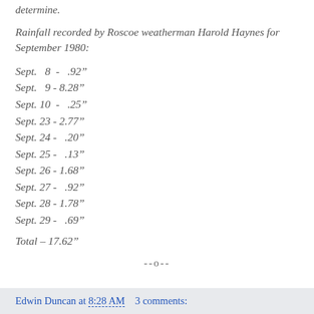determine.
Rainfall recorded by Roscoe weatherman Harold Haynes for September 1980:
Sept.  8 -  .92"
Sept.  9 - 8.28"
Sept. 10 -  .25"
Sept. 23 - 2.77"
Sept. 24 -  .20"
Sept. 25 -  .13"
Sept. 26 - 1.68"
Sept. 27 -  .92"
Sept. 28 - 1.78"
Sept. 29 -  .69"
Total – 17.62"
--o--
Edwin Duncan at 8:28 AM   3 comments: